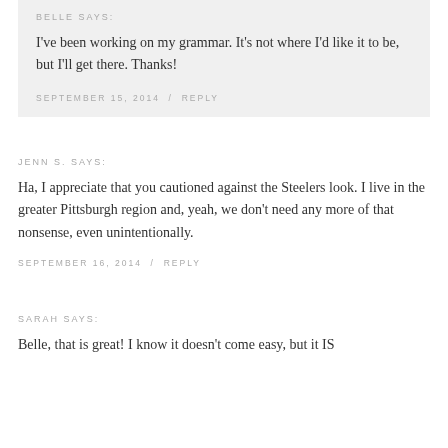BELLE SAYS:
I've been working on my grammar. It's not where I'd like it to be, but I'll get there. Thanks!
SEPTEMBER 15, 2014 / REPLY
JENN S. SAYS:
Ha, I appreciate that you cautioned against the Steelers look. I live in the greater Pittsburgh region and, yeah, we don't need any more of that nonsense, even unintentionally.
SEPTEMBER 16, 2014 / REPLY
SARAH SAYS:
Belle, that is great! I know it doesn't come easy, but it IS